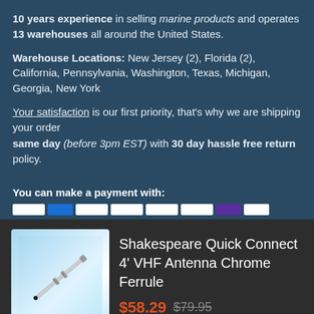10 years experience in selling marine products and operates 13 warehouses all around the United States.
Warehouse Locations: New Jersey (2), Florida (2), California, Pennsylvania, Washington, Texas, Michigan, Georgia, New York
Your satisfaction is our first priority, that's why we are shipping your order same day (before 3pm EST) with 30 day hassle free return policy.
You can make a payment with:
[Figure (other): Product image of Shakespeare Quick Connect 4' VHF Antenna Chrome Ferrule showing a white antenna rod on light blue background]
Shakespeare Quick Connect 4' VHF Antenna Chrome Ferrule $58.29 $79.95
ADD TO CART